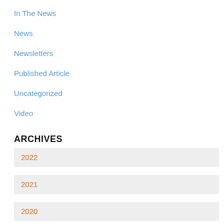In The News
News
Newsletters
Published Article
Uncategorized
Video
ARCHIVES
2022
2021
2020